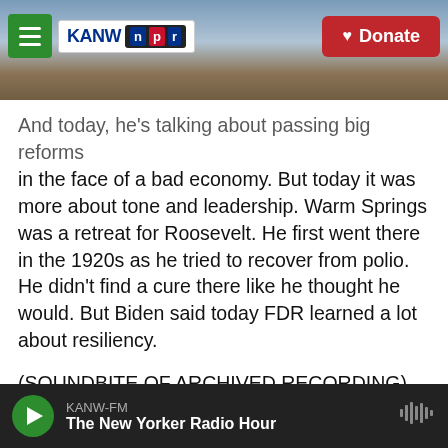KANW NPR — Donate
And today, he's talking about passing big reforms in the face of a bad economy. But today it was more about tone and leadership. Warm Springs was a retreat for Roosevelt. He first went there in the 1920s as he tried to recover from polio. He didn't find a cure there like he thought he would. But Biden said today FDR learned a lot about resiliency.
(SOUNDBITE OF ARCHIVED RECORDING)
JOE BIDEN: This place, Warm Springs, is a reminder that, though broken, each of us can be healed; that as a people and a country, we can overcome this devastating virus; that we can heal a suffering
KANW-FM — The New Yorker Radio Hour